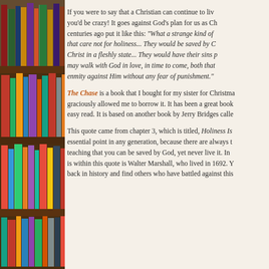[Figure (photo): Bookshelf with colorful books on the left side of the page]
If you were to say that a Christian can continue to live... you'd be crazy! It goes against God's plan for us as Ch... centuries ago put it like this: "What a strange kind of... that care not for holiness... They would be saved by C... Christ in a fleshly state... They would have their sins p... may walk with God in love, in time to come, both that... enmity against Him without any fear of punishment."
The Chase is a book that I bought for my sister for Christma... graciously allowed me to borrow it. It has been a great book... easy read. It is based on another book by Jerry Bridges calle...
This quote came from chapter 3, which is titled, Holiness Is... essential point in any generation, because there are always t... teaching that you can be saved by God, yet never live it. In ... is within this quote is Walter Marshall, who lived in 1692. Y... back in history and find others who have battled against this...